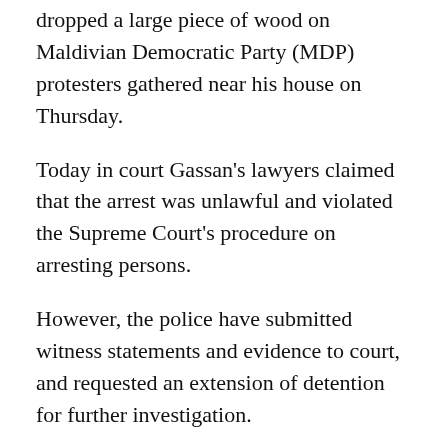dropped a large piece of wood on Maldivian Democratic Party (MDP) protesters gathered near his house on Thursday.
Today in court Gassan's lawyers claimed that the arrest was unlawful and violated the Supreme Court's procedure on arresting persons.
However, the police have submitted witness statements and evidence to court, and requested an extension of detention for further investigation.
Last Thursday 17 year-old Hussein Hassan was critically injured by a piece of wood while he was inside a group of MDP members protesting against manipulation of the judiciary by members of the former government. A spokesperson for Indira Gandhi Memorial Hospital (IGMH) later said his condition had stabilised.